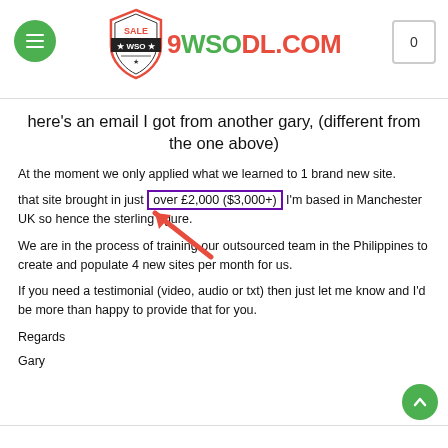9WSODL.COM — WSO Sale site header
here's an email I got from another gary, (different from the one above)
At the moment we only applied what we learned to 1 brand new site.
that site brought in just over £2,000 ($3,000+) I'm based in Manchester UK so hence the sterling figure.
We are in the process of training our outsourced team in the Philippines to create and populate 4 new sites per month for us.
If you need a testimonial (video, audio or txt) then just let me know and I'd be more than happy to provide that for you.
Regards
Gary